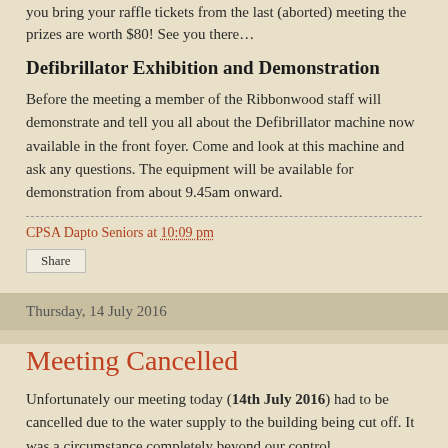you bring your raffle tickets from the last (aborted) meeting the prizes are worth $80! See you there…
Defibrillator Exhibition and Demonstration
Before the meeting a member of the Ribbonwood staff will demonstrate and tell you all about the Defibrillator machine now available in the front foyer. Come and look at this machine and ask any questions. The equipment will be available for demonstration from about 9.45am onward.
CPSA Dapto Seniors at 10:09 pm
Share
Thursday, 14 July 2016
Meeting Cancelled
Unfortunately our meeting today (14th July 2016) had to be cancelled due to the water supply to the building being cut off. It was a circumstance completely beyond our control.